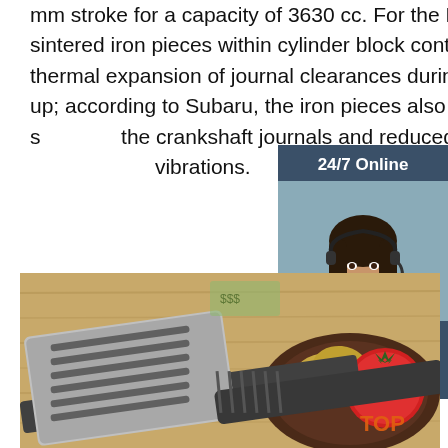mm stroke for a capacity of 3630 cc. For the EZ36D, sintered iron pieces within cylinder block controlled thermal expansion of journal clearances during warm-up; according to Subaru, the iron pieces also relieved stress on the crankshaft journals and reduced oil consumption vibrations.
[Figure (infographic): 24/7 Online chat widget with a smiling woman wearing a headset, dark blue background, orange QUOTATION button]
Get Price
[Figure (photo): A kitchen spatula/turner made of stainless steel with slotted head lying on a wooden surface next to vegetables (potato and tomato) on a dark plate. TOP logo visible.]